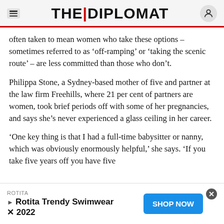THE DIPLOMAT
often taken to mean women who take these options – sometimes referred to as 'off-ramping' or 'taking the scenic route' – are less committed than those who don't.
Philippa Stone, a Sydney-based mother of five and partner at the law firm Freehills, where 21 per cent of partners are women, took brief periods off with some of her pregnancies, and says she's never experienced a glass ceiling in her career.
'One key thing is that I had a full-time babysitter or nanny, which was obviously enormously helpful,' she says. 'If you take five years off you have five
[Figure (other): Advertisement banner: ROTITA brand, Rotita Trendy Swimwear 2022, with a blue SHOP NOW button and a close (x) icon.]